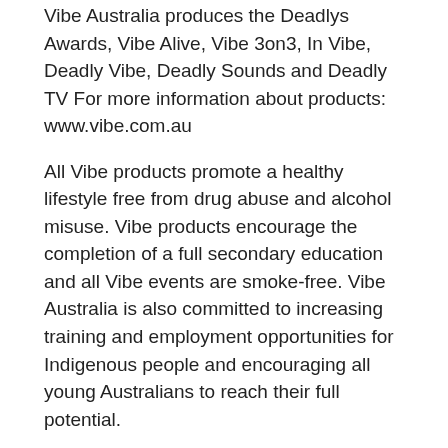Vibe Australia produces the Deadlys Awards, Vibe Alive, Vibe 3on3, In Vibe, Deadly Vibe, Deadly Sounds and Deadly TV For more information about products: www.vibe.com.au
All Vibe products promote a healthy lifestyle free from drug abuse and alcohol misuse. Vibe products encourage the completion of a full secondary education and all Vibe events are smoke-free. Vibe Australia is also committed to increasing training and employment opportunities for Indigenous people and encouraging all young Australians to reach their full potential.
Vibe Alive is proudly supported by the Australian Government through the Department of Education, Employment and Workplace Relations.
BENDIGO VIBE ALIVE WINNERS 2010